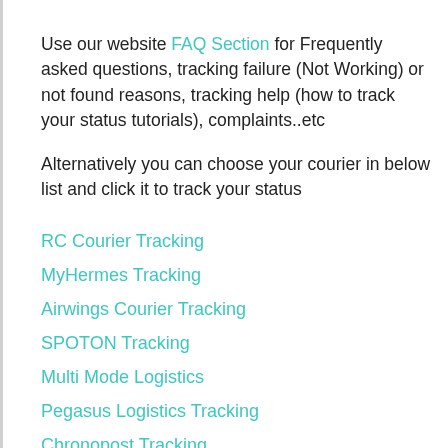Use our website FAQ Section for Frequently asked questions, tracking failure (Not Working) or not found reasons, tracking help (how to track your status tutorials), complaints..etc
Alternatively you can choose your courier in below list and click it to track your status
RC Courier Tracking
MyHermes Tracking
Airwings Courier Tracking
SPOTON Tracking
Multi Mode Logistics
Pegasus Logistics Tracking
Chronopost Tracking
Laar Courier Tracking